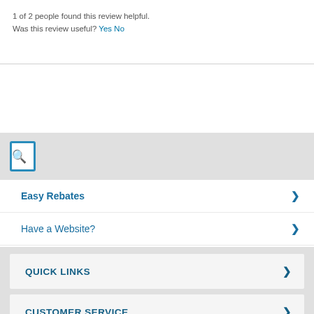1 of 2 people found this review helpful.
Was this review useful? Yes No
[Figure (screenshot): Search bar with blue border and magnifying glass icon]
Easy Rebates
Have a Website?
FREE Newsletter
Bargain Basket
QUICK LINKS
CUSTOMER SERVICE